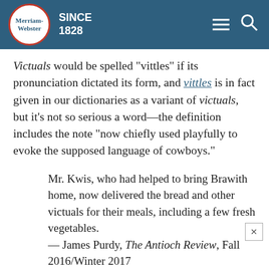Merriam-Webster SINCE 1828
Victuals would be spelled "vittles" if its pronunciation dictated its form, and vittles is in fact given in our dictionaries as a variant of victuals, but it's not so serious a word—the definition includes the note "now chiefly used playfully to evoke the supposed language of cowboys."
Mr. Kwis, who had helped to bring Brawith home, now delivered the bread and other victuals for their meals, including a few fresh vegetables. — James Purdy, The Antioch Review, Fall 2016/Winter 2017